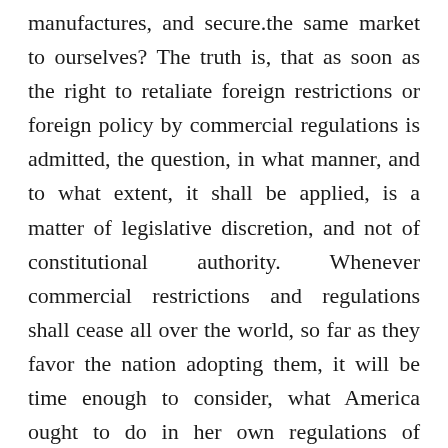manufactures, and secure.the same market to ourselves? The truth is, that as soon as the right to retaliate foreign restrictions or foreign policy by commercial regulations is admitted, the question, in what manner, and to what extent, it shall be applied, is a matter of legislative discretion, and not of constitutional authority. Whenever commercial restrictions and regulations shall cease all over the world, so far as they favor the nation adopting them, it will be time enough to consider, what America ought to do in her own regulations of commerce, which are designed to protect her own industry and counteract such favoritism. It will then become a question, not of power, but of policy. Such a state of things has never yet existed. In fact the concession, that the power to regulate commerce